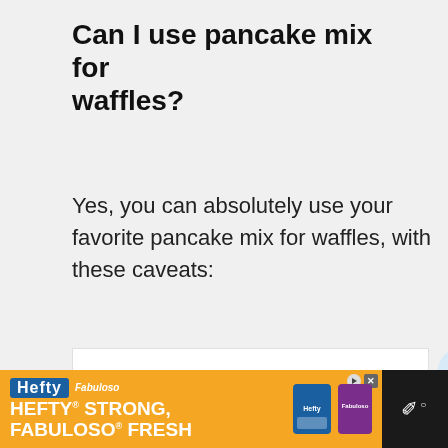Can I use pancake mix for waffles?
Yes, you can absolutely use your favorite pancake mix for waffles, with these caveats:
[Figure (other): White content/image area with navigation dots below, social sharing buttons (heart and share) on the right side, and a 'What's Next: Easy Pumpkin Bread' overlay in the lower right corner]
[Figure (other): Advertisement banner: Hefty brand ad with orange background reading 'HEFTY STRONG, FABULOSO FRESH' with Fabuloso logo, Hefty logo image, close button, and dark right panel with menu icon]